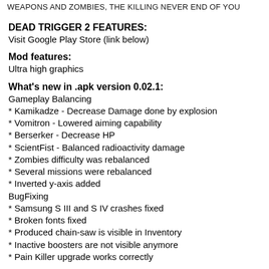WEAPONS AND ZOMBIES, THE KILLING NEVER END OF YOU
DEAD TRIGGER 2 FEATURES:
Visit Google Play Store (link below)
Mod features:
Ultra high graphics
What's new in .apk version 0.02.1:
Gameplay Balancing
* Kamikadze - Decrease Damage done by explosion
* Vomitron - Lowered aiming capability
* Berserker - Decrease HP
* ScientFist - Balanced radioactivity damage
* Zombies difficulty was rebalanced
* Several missions were rebalanced
* Inverted y-axis added
BugFixing
* Samsung S III and S IV crashes fixed
* Broken fonts fixed
* Produced chain-saw is visible in Inventory
* Inactive boosters are not visible anymore
* Pain Killer upgrade works correctly